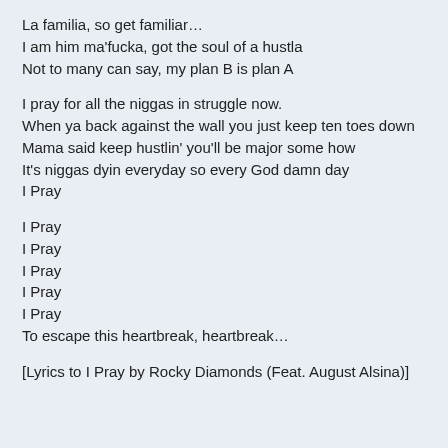La familia, so get familiar…
I am him ma'fucka, got the soul of a hustla
Not to many can say, my plan B is plan A
I pray for all the niggas in struggle now.
When ya back against the wall you just keep ten toes down
Mama said keep hustlin' you'll be major some how
It's niggas dyin everyday so every God damn day
I Pray
I Pray
I Pray
I Pray
I Pray
I Pray
I Pray
To escape this heartbreak, heartbreak…
[Lyrics to I Pray by Rocky Diamonds (Feat. August Alsina)]